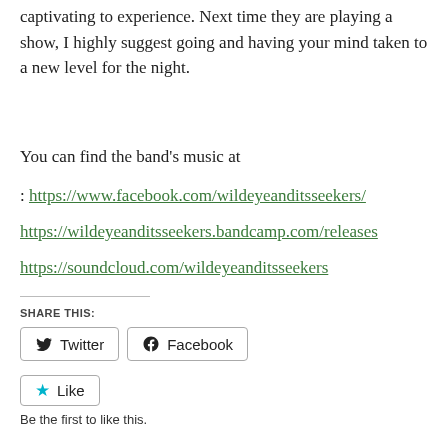captivating to experience. Next time they are playing a show, I highly suggest going and having your mind taken to a new level for the night.
You can find the band's music at
: https://www.facebook.com/wildeyeanditsseekers/
https://wildeyeanditsseekers.bandcamp.com/releases
https://soundcloud.com/wildeyeanditsseekers
SHARE THIS:
Twitter  Facebook
Like
Be the first to like this.